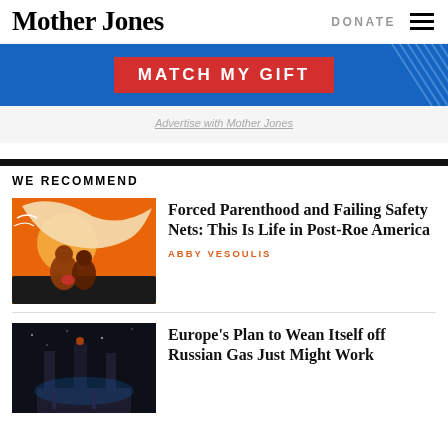Mother Jones | DONATE
[Figure (illustration): Mother Jones website header with logo, DONATE link, and hamburger menu]
[Figure (infographic): Blue advertisement banner with red 'MATCH MY GIFT' button and diagonal line decoration]
Advertise with Mother Jones
WE RECOMMEND
[Figure (illustration): Orange illustration showing women figures embracing under a large hand/wing shape]
Forced Parenthood and Failing Safety Nets: This Is Life in Post-Roe America
ABBY VESOULIS
[Figure (photo): Dark nighttime photo of industrial smokestacks/chimneys lit against a dark sky]
Europe's Plan to Wean Itself off Russian Gas Just Might Work